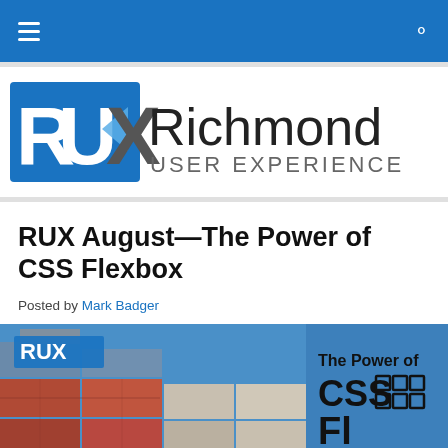Navigation bar with hamburger menu and search icon
[Figure (logo): RUX Richmond User Experience logo — blue block letters RUX with a chevron/arrow, followed by 'Richmond' in large dark text and 'USER EXPERIENCE' below in grey]
RUX August—The Power of CSS Flexbox
Posted by Mark Badger
[Figure (photo): Feature image showing stacked shipping containers in various colors (red, blue, grey) with RUX logo on the left and text 'The Power of CSS Flexbox' on the right over a blue sky background]